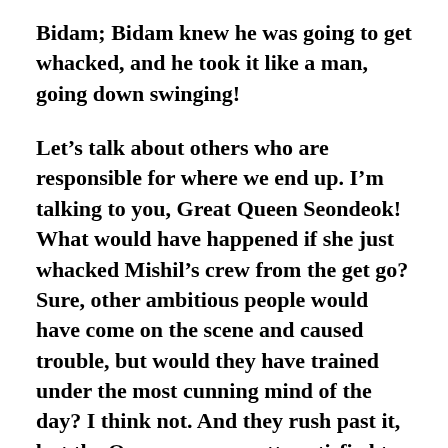Bidam; Bidam knew he was going to get whacked, and he took it like a man, going down swinging!
Let's talk about others who are responsible for where we end up. I'm talking to you, Great Queen Seondeok! What would have happened if she just whacked Mishil's crew from the get go? Sure, other ambitious people would have come on the scene and caused trouble, but would they have trained under the most cunning mind of the day? I think not. And they rush past it, but the Queen seems pretty satisfied to use Bidam to her dirty work. I like her, but she ain't blameless.  She also just stands there and lets countless soldiers get whacked to try to kill Bidam, and we'll cheer her on as